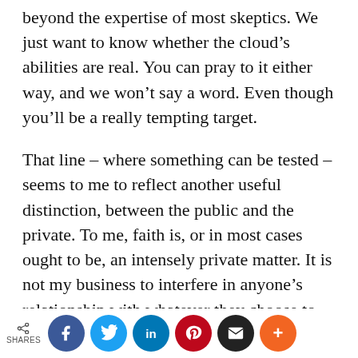beyond the expertise of most skeptics. We just want to know whether the cloud's abilities are real. You can pray to it either way, and we won't say a word. Even though you'll be a really tempting target.
That line – where something can be tested – seems to me to reflect another useful distinction, between the public and the private. To me, faith is, or in most cases ought to be, an intensely private matter. It is not my business to interfere in anyone's relationship with whatever they choose to define as God; life is hard enough and
SHARES [social share buttons: Facebook, Twitter, LinkedIn, Pinterest, Email, More]